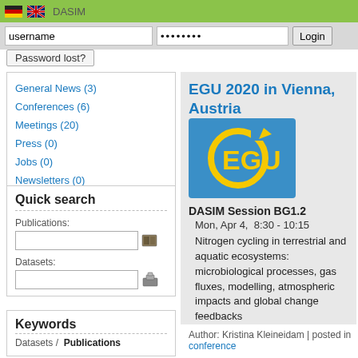DASIM
username | ●●●●●●●● | Login | Password lost?
General News (3)
Conferences (6)
Meetings (20)
Press (0)
Jobs (0)
Newsletters (0)
Quick search
Publications:
Datasets:
Keywords
Datasets / Publications
15N gas flux method 15N tracing Agrobacterium tumefaciens anoxic aggregate centers
EGU 2020 in Vienna, Austria
[Figure (logo): EGU logo - blue square with yellow EGU text and circular arrow icon]
DASIM Session BG1.2
Mon, Apr 4, 8:30 - 10:15
Nitrogen cycling in terrestrial and aquatic ecosystems: microbiological processes, gas fluxes, modelling, atmospheric impacts and global change feedbacks
Author: Kristina Kleineidam | posted in conference